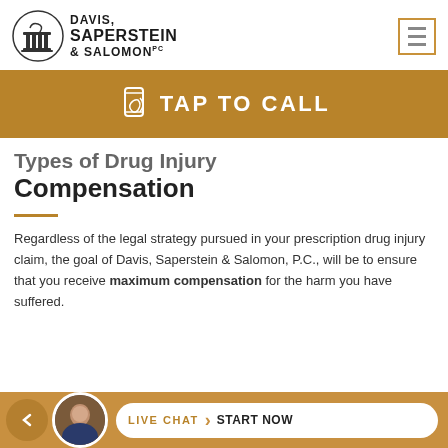[Figure (logo): Davis, Saperstein & Salomon PC law firm logo with column/pillar icon]
[Figure (other): Hamburger menu icon in gold/orange border box]
[Figure (other): TAP TO CALL gold button bar with phone icon]
Types of Drug Injury Compensation
Regardless of the legal strategy pursued in your prescription drug injury claim, the goal of Davis, Saperstein & Salomon, P.C., will be to ensure that you receive maximum compensation for the harm you have suffered.
[Figure (other): Live Chat - Start Now bottom bar with attorney avatar photo]